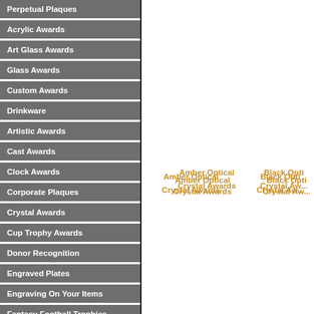Perpetual Plaques
Acrylic Awards
Art Glass Awards
Glass Awards
Custom Awards
Drinkware
Artistic Awards
Cast Awards
Clock Awards
Corporate Plaques
Crystal Awards
Cup Trophy Awards
Donor Recognition
Engraved Plates
Engraving On Your Items
Fantasy Football Trophies
Gift Awards
Amber Optical Crystal Awards
Black Optical Crystal Awards
Clock Crystal Awards
Corporate Crystal Awards
Green Optical Crystal Awards
Red Optical Crystal Awards